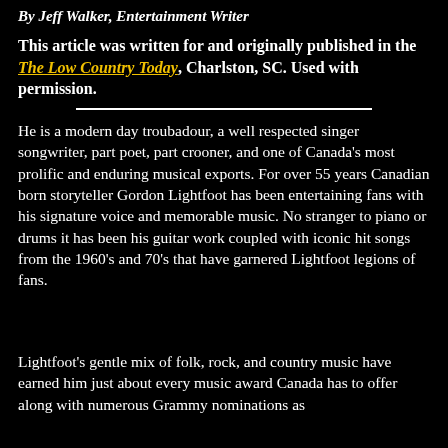By Jeff Walker, Entertainment Writer
This article was written for and originally published in the The Low Country Today, Charlston, SC. Used with permission.
He is a modern day troubadour, a well respected singer songwriter, part poet, part crooner, and one of Canada's most prolific and enduring musical exports. For over 55 years Canadian born storyteller Gordon Lightfoot has been entertaining fans with his signature voice and memorable music. No stranger to piano or drums it has been his guitar work coupled with iconic hit songs from the 1960's and 70's that have garnered Lightfoot legions of fans.
Lightfoot's gentle mix of folk, rock, and country music have earned him just about every music award Canada has to offer along with numerous Grammy nominations as